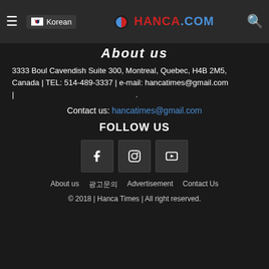Korean | HANCA.COM
About us
3333 Boul Cavendish Suite 300, Montreal, Quebec, H4B 2M5, Canada | TEL: 514-489-3337 | e-mail: hancatimes@gmail.com |
Contact us: hancatimes@gmail.com
FOLLOW US
[Figure (other): Social media icons: Facebook, Instagram, YouTube]
About us | 광고문의 | Advertisement | Contact Us
© 2018 | Hanca Times | All right reserved.